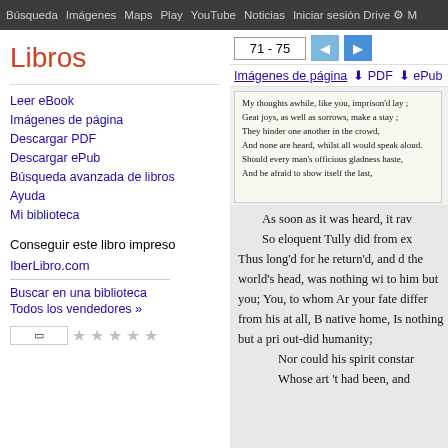Búsqueda | Imágenes | Maps | Play | YouTube | Noticias | Iniciar sesión | Drive | M
Libros
Leer eBook
Imágenes de página
Descargar PDF
Descargar ePub
Búsqueda avanzada de libros
Ayuda
Mi biblioteca
Conseguir este libro impreso
IberLibro.com
Buscar en una biblioteca
Todos los vendedores »
[Figure (screenshot): Book viewer navigation toolbar showing page range 71-75, back and forward arrow buttons, and links for Imágenes de página, PDF, ePub downloads]
[Figure (screenshot): Scanned book page image showing old English verse: My thoughts awhile, like you, imprison'd lay; Great joys, as well as sorrows, make a stay; They hinder one another in the crowd, And none are heard, whilst all would speak aloud. Should every man's officious gladness haste, And be afraid to show itself the last,]
As soon as it was heard, it rav
So eloquent Tully did from ex
Thus long'd for he return'd, and d the world's head, was nothing wi to him but you; You, to whom Ar your fate differ from his at all, B native home, Is nothing but a pri out-did humanity;
Nor could his spirit constar Whose art 't had been, and